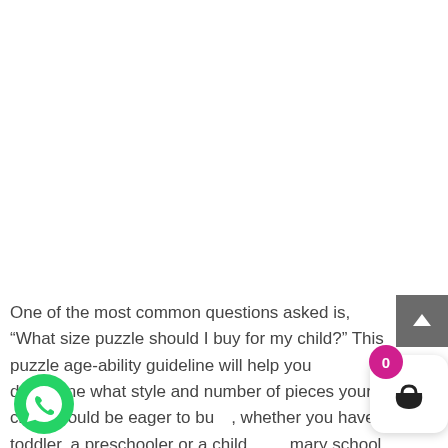One of the most common questions asked is, “What size puzzle should I buy for my child?” This puzzle age-ability guideline will help you determine what style and number of pieces your child should be eager to bu[ild], whether you have a toddler, a preschooler or a child [at pri]mary school.